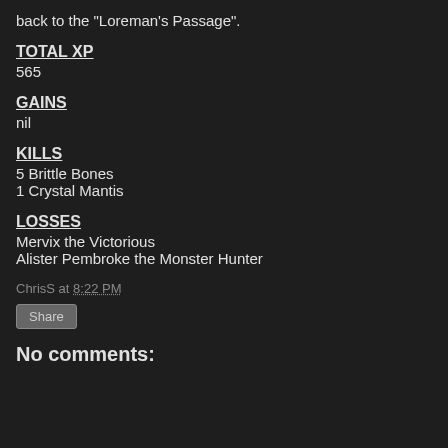back to the "Loreman's Passage".
TOTAL XP
565
GAINS
nil
KILLS
5 Brittle Bones
1 Crystal Mantis
LOSSES
Mervix the Victorious
Alister Pembroke the Monster Hunter
ChrisS at 8:22 PM
Share
No comments: